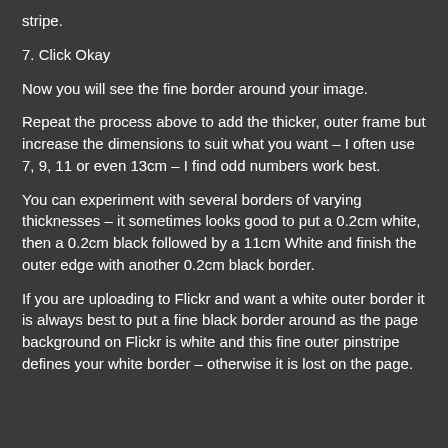stripe.
7. Click Okay
Now you will see the fine border around your image.
Repeat the process above to add the thicker, outer frame but increase the dimensions to suit what you want – I often use 7, 9, 11 or even 13cm – I find odd numbers work best.
You can experiment with several borders of varying thicknesses – it sometimes looks good to put a 0.2cm white, then a 0.2cm black followed by a 11cm White and finish the outer edge with another 0.2cm black border.
If you are uploading to Flickr and want a white outer border it is always best to put a fine black border around as the page background on Flickr is white and this fine outer pinstripe defines your white border – otherwise it is lost on the page.